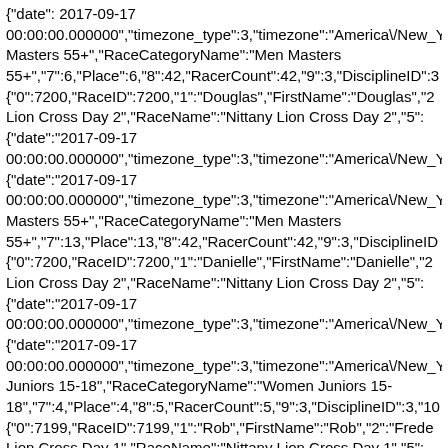{ "date": 2017-09-17 00:00:00.000000","timezone_type":3,"timezone":"America\/New_Yo Masters 55+","RaceCategoryName":"Men Masters 55+","7":6,"Place":6,"8":42,"RacerCount":42,"9":3,"DisciplineID":3 {"0":7200,"RaceID":7200,"1":"Douglas","FirstName":"Douglas","2" Lion Cross Day 2","RaceName":"Nittany Lion Cross Day 2","5": {"date":"2017-09-17 00:00:00.000000","timezone_type":3,"timezone":"America\/New_Yo {"date":"2017-09-17 00:00:00.000000","timezone_type":3,"timezone":"America\/New_Yo Masters 55+","RaceCategoryName":"Men Masters 55+","7":13,"Place":13,"8":42,"RacerCount":42,"9":3,"DisciplineID {"0":7200,"RaceID":7200,"1":"Danielle","FirstName":"Danielle","2 Lion Cross Day 2","RaceName":"Nittany Lion Cross Day 2","5": {"date":"2017-09-17 00:00:00.000000","timezone_type":3,"timezone":"America\/New_Yo {"date":"2017-09-17 00:00:00.000000","timezone_type":3,"timezone":"America\/New_Yo Juniors 15-18","RaceCategoryName":"Women Juniors 15-18","7":4,"Place":4,"8":5,"RacerCount":5,"9":3,"DisciplineID":3,"10 {"0":7199,"RaceID":7199,"1":"Rob","FirstName":"Rob","2":"Frede Lion Cross Day 1","RaceName":"Nittany Lion Cross Day 1","5": {"date":"2017-09-16 00:00:00.000000","timezone_type":3,"timezone":"America\/New_Yo {"date":"2017-09-16 00:00:00.000000","timezone_type":3,"timezone":"America\/New_Yo